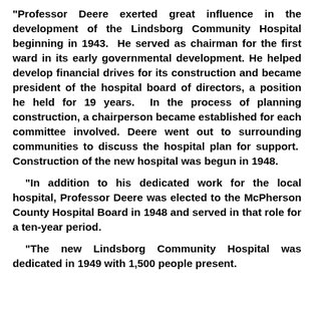"Professor Deere exerted great influence in the development of the Lindsborg Community Hospital beginning in 1943. He served as chairman for the first ward in its early governmental development. He helped develop financial drives for its construction and became president of the hospital board of directors, a position he held for 19 years. In the process of planning construction, a chairperson became established for each committee involved. Deere went out to surrounding communities to discuss the hospital plan for support. Construction of the new hospital was begun in 1948.
"In addition to his dedicated work for the local hospital, Professor Deere was elected to the McPherson County Hospital Board in 1948 and served in that role for a ten-year period.
"The new Lindsborg Community Hospital was dedicated in 1949 with 1,500 people present.